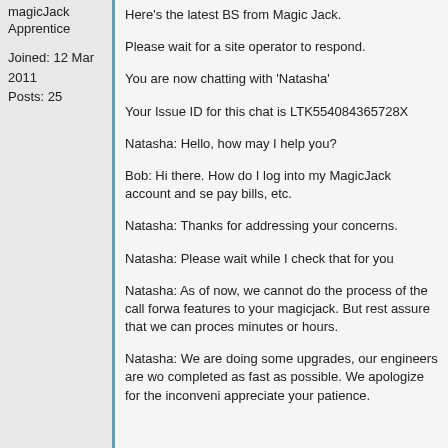magicJack
Apprentice
Joined: 12 Mar 2011
Posts: 25
Here's the latest BS from Magic Jack.
Please wait for a site operator to respond.
You are now chatting with 'Natasha'
Your Issue ID for this chat is LTK554084365728X
Natasha: Hello, how may I help you?
Bob: Hi there. How do I log into my MagicJack account and se pay bills, etc.
Natasha: Thanks for addressing your concerns.
Natasha: Please wait while I check that for you
Natasha: As of now, we cannot do the process of the call forwa features to your magicjack. But rest assure that we can proces minutes or hours.
Natasha: We are doing some upgrades, our engineers are wo completed as fast as possible. We apologize for the inconveni appreciate your patience.